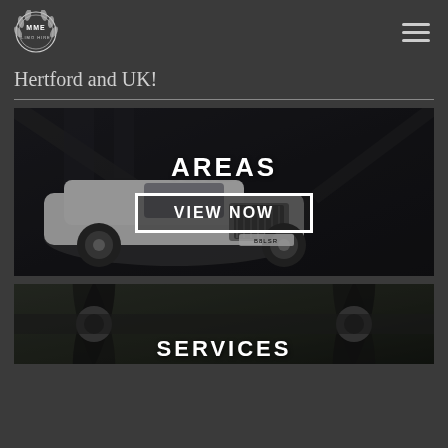MME logo and navigation
Hertford and UK!
[Figure (photo): White Rolls-Royce Phantom limousine parked inside a large industrial hangar with dark background, overlaid with text 'AREAS' and a 'VIEW NOW' button]
[Figure (photo): Partial view of a vintage aircraft propeller and engine, with 'SERVICES' text overlay at the bottom]